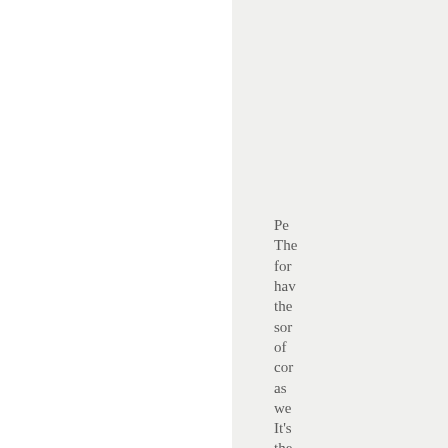Pe The form have the some of con as we It's the hei of am to ass tha raic and